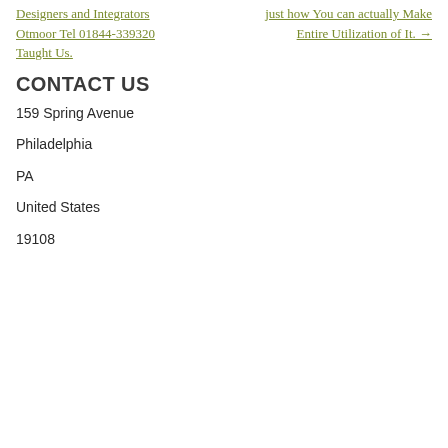Designers and Integrators
Otmoor Tel 01844-339320
Taught Us.
just how You can actually Make Entire Utilization of It. →
CONTACT US
159 Spring Avenue
Philadelphia
PA
United States
19108